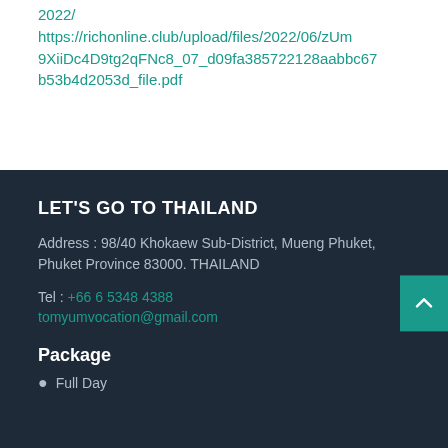2022/
https://richonline.club/upload/files/2022/06/zUm9XiiDc4D9tg2qFNc8_07_d09fa385722128aabbc67b53b4d2053d_file.pdf
LET'S GO TO THAILAND
Address : 98/40 Khokaew Sub-District, Mueng Phuket, Phuket Province 83000. THAILAND
Tel : +66 6 5348 4388
tomyumvocation@gmail.com
Package
Full Day